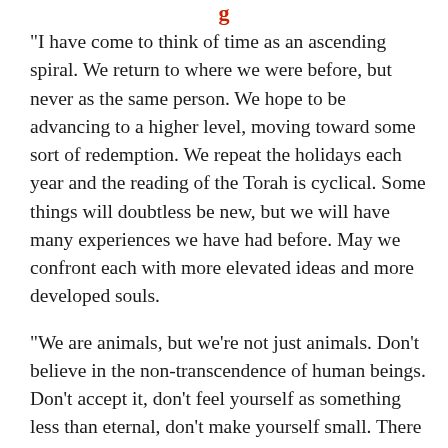g
"I have come to think of time as an ascending spiral. We return to where we were before, but never as the same person. We hope to be advancing to a higher level, moving toward some sort of redemption. We repeat the holidays each year and the reading of the Torah is cyclical. Some things will doubtless be new, but we will have many experiences we have had before. May we confront each with more elevated ideas and more developed souls.
"We are animals, but we're not just animals. Don't believe in the non-transcendence of human beings. Don't accept it, don't feel yourself as something less than eternal, don't make yourself small. There exists in this world